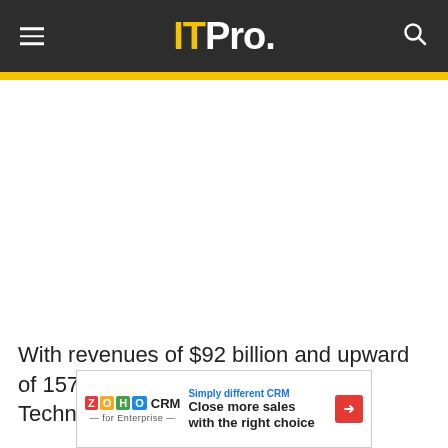IT Pro.
With revenues of $92 billion and upward of 157,000 team members, Dell Technologies has come to be one
[Figure (screenshot): Zoho CRM advertisement banner: 'Simply different CRM — Close more sales with the right choice']